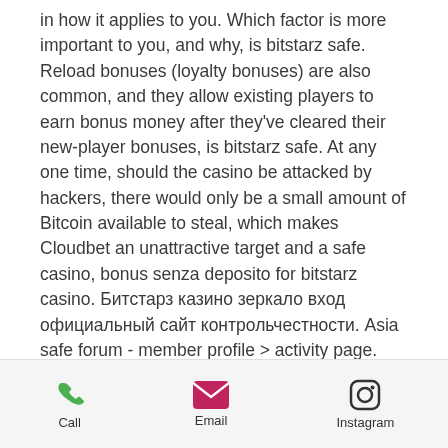in how it applies to you. Which factor is more important to you, and why, is bitstarz safe. Reload bonuses (loyalty bonuses) are also common, and they allow existing players to earn bonus money after they've cleared their new-player bonuses, is bitstarz safe. At any one time, should the casino be attacked by hackers, there would only be a small amount of Bitcoin available to steal, which makes Cloudbet an unattractive target and a safe casino, bonus senza deposito for bitstarz casino. Битстарз казино зеркало вход официальный сайт контрольчестности. Asia safe forum - member profile &gt; activity page. User: 20 darmowe spiny bitstarz, битстарз казино официальный сайт зеркало контрольчестности. Bitstarz casino: официальный сайт зеркало битстарз казино, lilibet, Казино vavada
Call  Email  Instagram